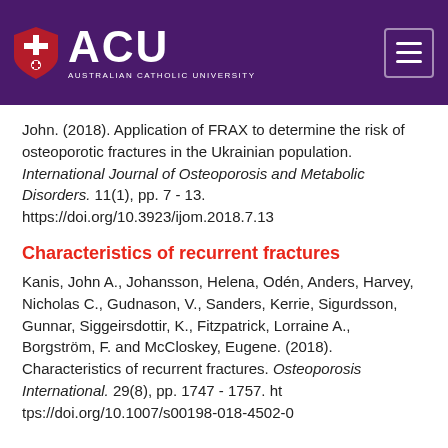[Figure (logo): ACU (Australian Catholic University) logo with shield on purple header background, and hamburger menu icon on the right]
John. (2018). Application of FRAX to determine the risk of osteoporotic fractures in the Ukrainian population. International Journal of Osteoporosis and Metabolic Disorders. 11(1), pp. 7 - 13. https://doi.org/10.3923/ijom.2018.7.13
Characteristics of recurrent fractures
Kanis, John A., Johansson, Helena, Odén, Anders, Harvey, Nicholas C., Gudnason, V., Sanders, Kerrie, Sigurdsson, Gunnar, Siggeirsdottir, K., Fitzpatrick, Lorraine A., Borgström, F. and McCloskey, Eugene. (2018). Characteristics of recurrent fractures. Osteoporosis International. 29(8), pp. 1747 - 1757. https://doi.org/10.1007/s00198-018-4502-0